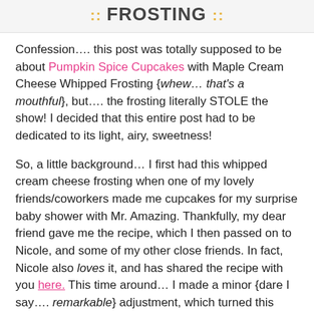FROSTING ::
Confession…. this post was totally supposed to be about Pumpkin Spice Cupcakes with Maple Cream Cheese Whipped Frosting {whew… that's a mouthful}, but…. the frosting literally STOLE the show! I decided that this entire post had to be dedicated to its light, airy, sweetness!
So, a little background… I first had this whipped cream cheese frosting when one of my lovely friends/coworkers made me cupcakes for my surprise baby shower with Mr. Amazing. Thankfully, my dear friend gave me the recipe, which I then passed on to Nicole, and some of my other close friends. In fact, Nicole also loves it, and has shared the recipe with you here. This time around… I made a minor {dare I say…. remarkable} adjustment, which turned this perfect summer frosting into the perfect one for fall. In fact…